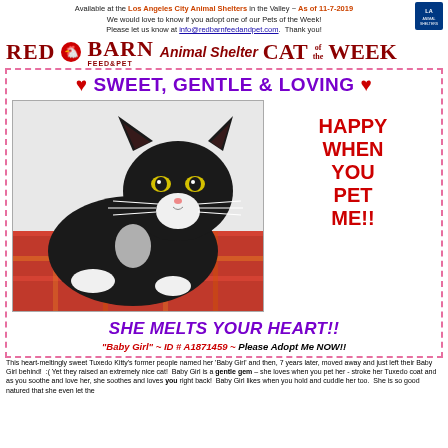Available at the Los Angeles City Animal Shelters in the Valley ~ As of 11-7-2019
We would love to know if you adopt one of our Pets of the Week!
Please let us know at info@redbarnfeedandpet.com.  Thank you!
RED BARN FEED & PET Animal Shelter CAT of the WEEK
♥ SWEET, GENTLE & LOVING ♥
[Figure (photo): A black tuxedo cat with yellow-green eyes lying on a red plaid blanket, looking directly at the camera]
HAPPY WHEN YOU PET ME!!
SHE MELTS YOUR HEART!!
"Baby Girl" ~ ID # A1871459 ~ Please Adopt Me NOW!!
This heart-meltingly sweet Tuxedo Kitty's former people named her 'Baby Girl' and then, 7 years later, moved away and just left their Baby Girl behind!  :( Yet they raised an extremely nice cat!  Baby Girl is a gentle gem – she loves when you pet her - stroke her Tuxedo coat and as you soothe and love her, she soothes and loves you right back!  Baby Girl likes when you hold and cuddle her too.  She is so good natured that she even let the